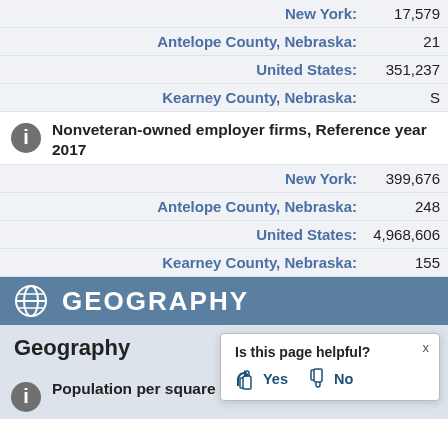New York: 17,579
Antelope County, Nebraska: 21
United States: 351,237
Kearney County, Nebraska: S
Nonveteran-owned employer firms, Reference year 2017
New York: 399,676
Antelope County, Nebraska: 248
United States: 4,968,606
Kearney County, Nebraska: 155
GEOGRAPHY
Geography
Population per square mile, 2020